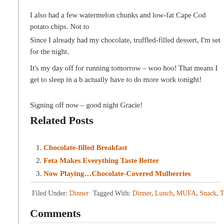I also had a few watermelon chunks and low-fat Cape Cod potato chips. Not to
Since I already had my chocolate, truffled-filled dessert, I'm set for the night.
It's my day off for running tomorrow – woo hoo! That means I get to sleep in a b actually have to do more work tonight!
Signing off now – good night Gracie!
Related Posts
1. Chocolate-filled Breakfast
2. Feta Makes Everything Taste Better
3. Now Playing…Chocolate-Covered Mulberries
Filed Under: Dinner   Tagged With: Dinner, Lunch, MUFA, Snack, Tea, T
Comments
Mia {runs and rests} says
September 15, 2009 at 11:00 pm